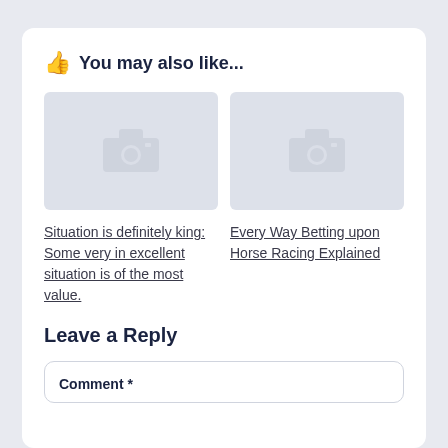👍 You may also like...
[Figure (photo): Placeholder image with camera icon (left article thumbnail)]
[Figure (photo): Placeholder image with camera icon (right article thumbnail)]
Situation is definitely king: Some very in excellent situation is of the most value.
Every Way Betting upon Horse Racing Explained
Leave a Reply
Comment *